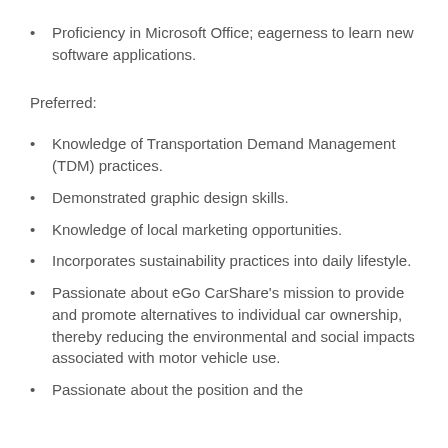Proficiency in Microsoft Office; eagerness to learn new software applications.
Preferred:
Knowledge of Transportation Demand Management (TDM) practices.
Demonstrated graphic design skills.
Knowledge of local marketing opportunities.
Incorporates sustainability practices into daily lifestyle.
Passionate about eGo CarShare's mission to provide and promote alternatives to individual car ownership, thereby reducing the environmental and social impacts associated with motor vehicle use.
Passionate about the position and the...